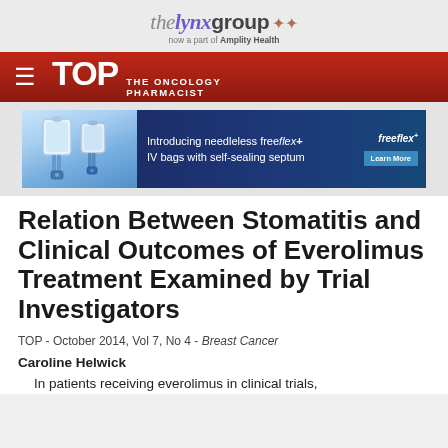[Figure (logo): The Lynx Group logo with 'now a part of Amplity Health' subtitle]
[Figure (logo): TOP - The Oncology Pharmacist navigation bar with red gradient background and hamburger menu]
[Figure (infographic): Advertisement banner: Introducing needleless freeflex+ IV bags with self-sealing septum. freeflex+ logo. Learn More button.]
Relation Between Stomatitis and Clinical Outcomes of Everolimus Treatment Examined by Trial Investigators
TOP - October 2014, Vol 7, No 4 - Breast Cancer
Caroline Helwick
In patients receiving everolimus in clinical trials,